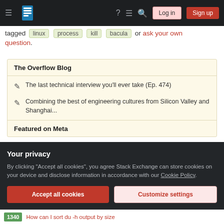Stack Exchange navigation bar with hamburger menu, logo, search, login and sign up buttons
tagged linux process kill bacula or ask your own question.
The Overflow Blog
The last technical interview you'll ever take (Ep. 474)
Combining the best of engineering cultures from Silicon Valley and Shanghai...
Featured on Meta
Your privacy
By clicking "Accept all cookies", you agree Stack Exchange can store cookies on your device and disclose information in accordance with our Cookie Policy.
Accept all cookies   Customize settings
1340  How can I sort du -h output by size